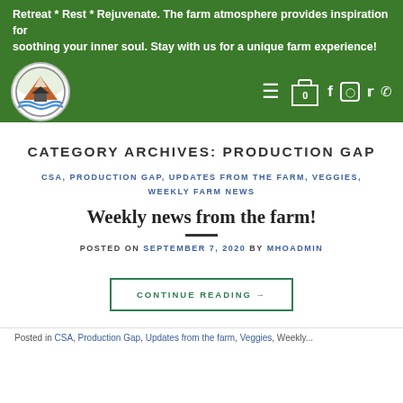Retreat * Rest * Rejuvenate. The farm atmosphere provides inspiration for soothing your inner soul. Stay with us for a unique farm experience!
[Figure (logo): Circular farm logo with mountain, house, and river scene on white background, surrounded by green nav bar with hamburger menu, shopping cart icon showing 0, and social icons for Facebook, Instagram, Twitter, and phone]
CATEGORY ARCHIVES: PRODUCTION GAP
CSA, PRODUCTION GAP, UPDATES FROM THE FARM, VEGGIES, WEEKLY FARM NEWS
Weekly news from the farm!
POSTED ON SEPTEMBER 7, 2020 BY MHOADMIN
CONTINUE READING →
Posted in CSA, Production Gap, Updates from the farm, Veggies, Weekly...